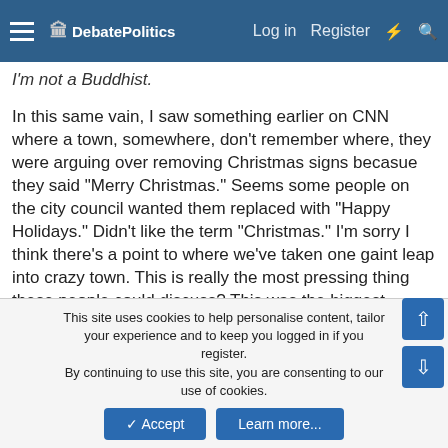DebatePolitics — Log in | Register
I'm not a Buddhist.
In this same vain, I saw something earlier on CNN where a town, somewhere, don't remember where, they were arguing over removing Christmas signs becasue they said "Merry Christmas." Seems some people on the city council wanted them replaced with "Happy Holidays." Didn't like the term "Christmas." I'm sorry I think there's a point to where we've taken one gaint leap into crazy town. This is really the most pressing thing these people could discuss? This was the biggest problem in their town? This was even a problem? And if they suceeded in redoing the signs- what would that have cost? And who would've paid for it?
bryanf
Member
This site uses cookies to help personalise content, tailor your experience and to keep you logged in if you register.
By continuing to use this site, you are consenting to our use of cookies.